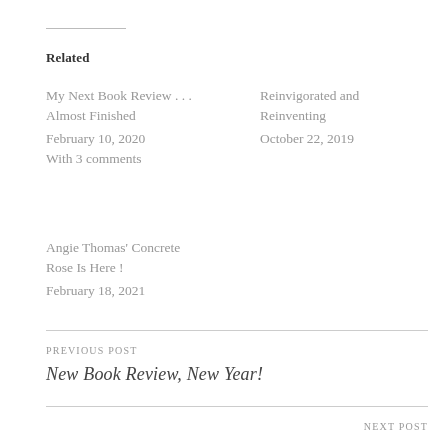Related
My Next Book Review . . . Almost Finished
February 10, 2020
With 3 comments
Reinvigorated and Reinventing
October 22, 2019
Angie Thomas' Concrete Rose Is Here !
February 18, 2021
PREVIOUS POST
New Book Review, New Year!
NEXT POST